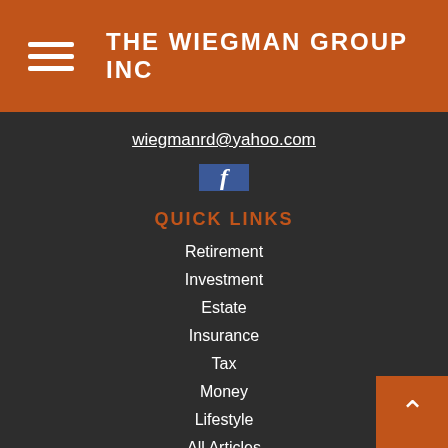THE WIEGMAN GROUP INC
wiegmanrd@yahoo.com
[Figure (logo): Facebook logo button - blue square with white letter f]
QUICK LINKS
Retirement
Investment
Estate
Insurance
Tax
Money
Lifestyle
All Articles
All Videos